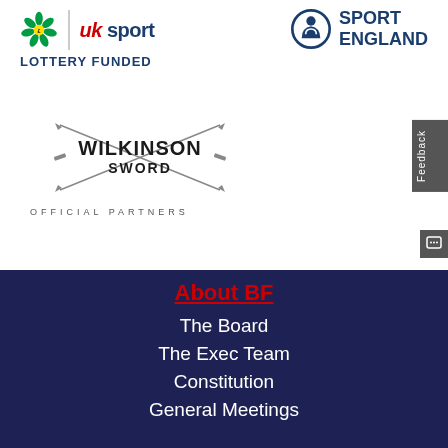[Figure (logo): UK Sport lottery funded logo with National Lottery flower icon and 'uk sport' text, below reads 'LOTTERY FUNDED']
[Figure (logo): Sport England logo with circular icon and 'SPORT ENGLAND' text in navy blue]
[Figure (logo): Wilkinson Sword official partners logo with crossed swords and stylized text, below reads 'OFFICIAL PARTNERS']
Feedback
About BF
The Board
The Exec Team
Constitution
General Meetings